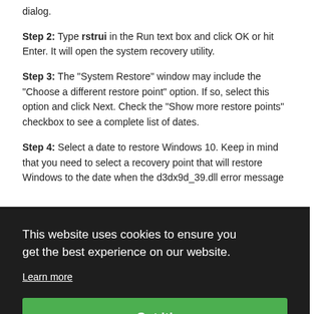dialog.
Step 2: Type rstrui in the Run text box and click OK or hit Enter. It will open the system recovery utility.
Step 3: The “System Restore” window may include the “Choose a different restore point” option. If so, select this option and click Next. Check the “Show more restore points” checkbox to see a complete list of dates.
Step 4: Select a date to restore Windows 10. Keep in mind that you need to select a recovery point that will restore Windows to the date when the d3dx9d_39.dll error message
This website uses cookies to ensure you get the best experience on our website. Learn more Got it!
Français | Italiano | Portuguës | Русский | Bahasa Indonesia